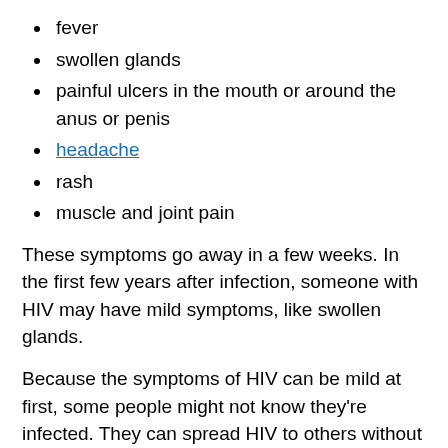fever
swollen glands
painful ulcers in the mouth or around the anus or penis
headache
rash
muscle and joint pain
These symptoms go away in a few weeks. In the first few years after infection, someone with HIV may have mild symptoms, like swollen glands.
Because the symptoms of HIV can be mild at first, some people might not know they're infected. They can spread HIV to others without even knowing it.
After a few years, other symptoms start, including: